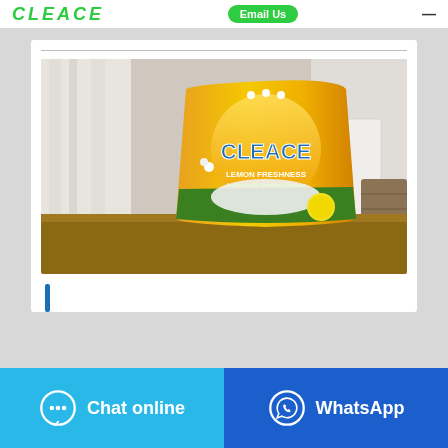CLEACE | Email Us
[Figure (photo): A yellow and orange bag of Cleace Lemon Freshness laundry washing powder sitting on a wooden table, with white curtains and towels in the background.]
Chat online
WhatsApp